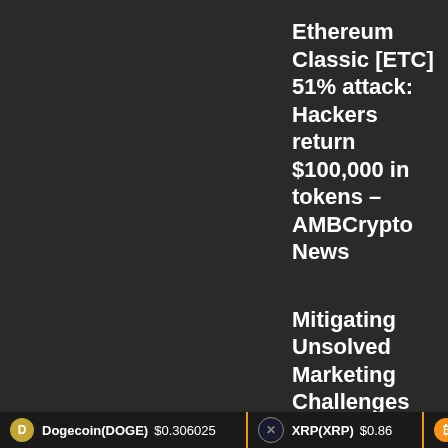Ethereum Classic [ETC] 51% attack: Hackers return $100,000 in tokens – AMBCrypto News
Mitigating Unsolved Marketing Challenges with Blockchain – CIOReview
Dogecoin(DOGE) $0.306025  XRP(XRP) $0.86  Bitco...